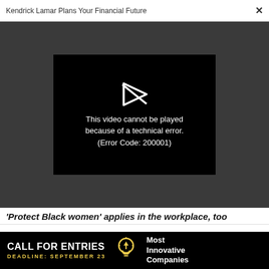Kendrick Lamar Plans Your Financial Future
[Figure (screenshot): Video player showing error: 'This video cannot be played because of a technical error. (Error Code: 200001)' with a broken play button icon on black background within a dark gray video area.]
'Protect Black women' applies in the workplace, too
WORK LIFE
Remote meetings have overtaken our calendars. Here are 3 ways to home in on the most necessary ones
[Figure (infographic): Advertisement banner: CALL FOR ENTRIES DEADLINE: SEPTEMBER 23 with lightbulb icon and 'Most Innovative Companies' text on black background.]